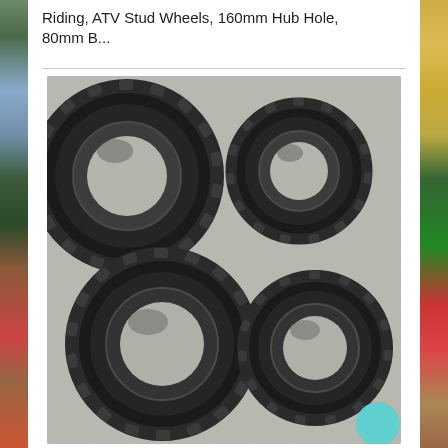Riding, ATV Stud Wheels, 160mm Hub Hole, 80mm B...
[Figure (photo): Four black ATV/quad bike off-road tires with studded tread pattern, arranged in a 2x2 grid on a concrete surface. Two larger tires on the left and two smaller tires on the right.]